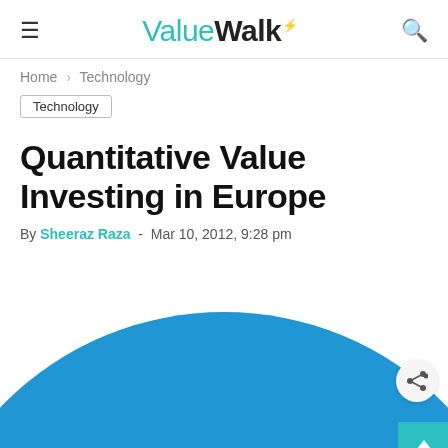ValueWalk
Home › Technology
Technology
Quantitative Value Investing in Europe
By Sheeraz Raza - Mar 10, 2012, 9:28 pm
[Figure (illustration): Blue circular donut/ring graphic partially visible at the bottom of the page, with a white center area containing a downward-pointing chevron/arrow in dark blue. A share icon button is visible on the right side. A teal corner accent is at the bottom right.]